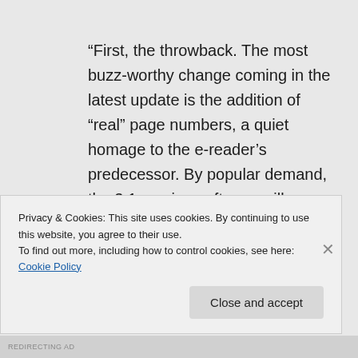“First, the throwback. The most buzz-worthy change coming in the latest update is the addition of “real” page numbers, a quiet homage to the e-reader’s predecessor. By popular demand, the 3.1 version software will display the page number that corresponds to same the location in a print edition when a reader presses the “Menu” button.
Privacy & Cookies: This site uses cookies. By continuing to use this website, you agree to their use.
To find out more, including how to control cookies, see here: Cookie Policy
Close and accept